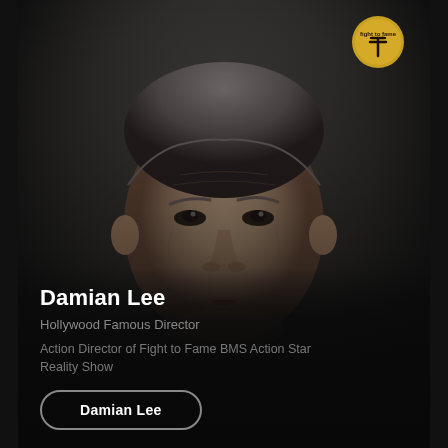[Figure (photo): Headshot portrait of Damian Lee, a middle-aged man with grey hair, wearing a dark jacket, photographed against a dark grey background. A gold circular logo badge is visible in the top-right corner.]
Damian Lee
Hollywood Famous Director
Action Director of Fight to Fame BMS Action Star Reality Show
Damian Lee